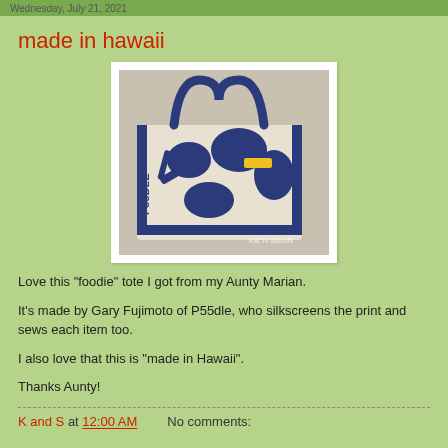Wednesday, July 21, 2021
made in hawaii
[Figure (photo): A canvas tote bag with blue silkscreen pattern featuring food-related imagery (utensils, pots, cups) and 'P55DLE' text on the side, with a yellow accent piece, photographed on a wooden surface.]
Love this "foodie" tote I got from my Aunty Marian.
It's made by Gary Fujimoto of P55dle, who silkscreens the print and sews each item too.
I also love that this is "made in Hawaii".
Thanks Aunty!
K and S at 12:00 AM    No comments: